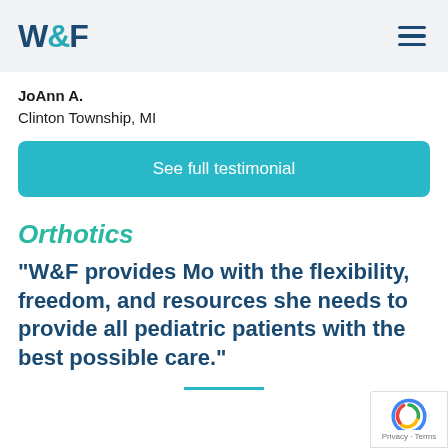W&F
JoAnn A.
Clinton Township, MI
See full testimonial
Orthotics
“W&F provides Mo with the flexibility, freedom, and resources she needs to provide all pediatric patients with the best possible care.”